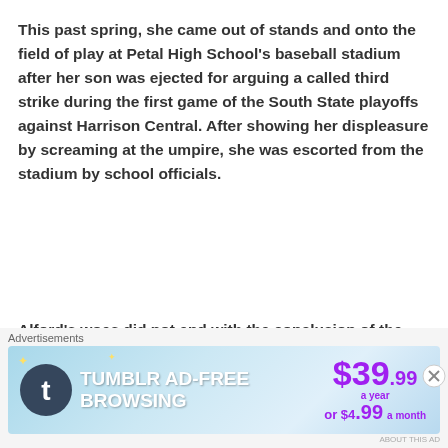This past spring, she came out of stands and onto the field of play at Petal High School's baseball stadium after her son was ejected for arguing a called third strike during the first game of the South State playoffs against Harrison Central. After showing her displeasure by screaming at the umpire, she was escorted from the stadium by school officials.
Alford's woes did not end with the conclusion of the Eagles' season. In late November, he was involved in a late night incident on campus involving himself, a teammate, and two individuals who were not Southern Miss students.. Trouble had brewing
[Figure (other): Tumblr Ad-Free Browsing advertisement banner showing $39.99 a year or $4.99 a month pricing]